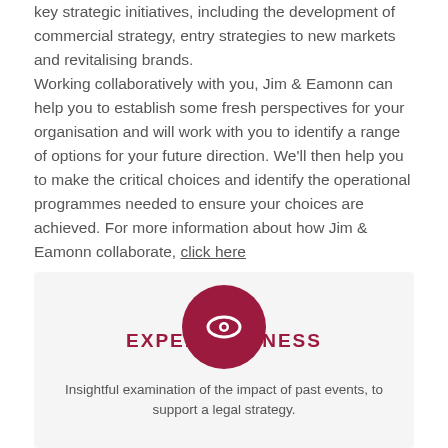key strategic initiatives, including the development of commercial strategy, entry strategies to new markets and revitalising brands.
Working collaboratively with you, Jim & Eamonn can help you to establish some fresh perspectives for your organisation and will work with you to identify a range of options for your future direction. We'll then help you to make the critical choices and identify the operational programmes needed to ensure your choices are achieved. For more information about how Jim & Eamonn collaborate, click here
[Figure (illustration): Dark red circle with a white eye icon in the center]
EXPERT WITNESS
Insightful examination of the impact of past events, to support a legal strategy.